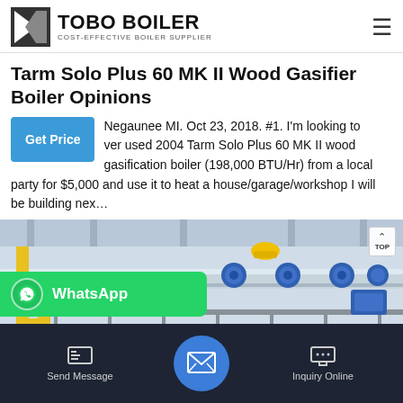TOBO BOILER — COST-EFFECTIVE BOILER SUPPLIER
Tarm Solo Plus 60 MK II Wood Gasifier Boiler Opinions
Negaunee MI. Oct 23, 2018. #1. I'm looking to over used 2004 Tarm Solo Plus 60 MK II wood gasification boiler (198,000 BTU/Hr) from a local party for $5,000 and use it to heat a house/garage/workshop I will be building nex...
[Figure (photo): Industrial boiler facility with yellow pipework, blue valves, and metal walkways in a large industrial building]
Send Message | Inquiry Online